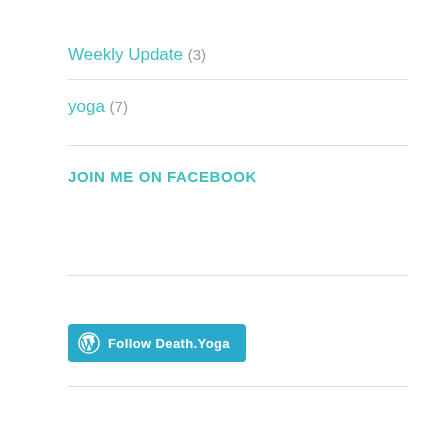Weekly Update (3)
yoga (7)
JOIN ME ON FACEBOOK
[Figure (logo): WordPress Follow button reading 'Follow Death.Yoga' with WordPress circular icon on blue background]